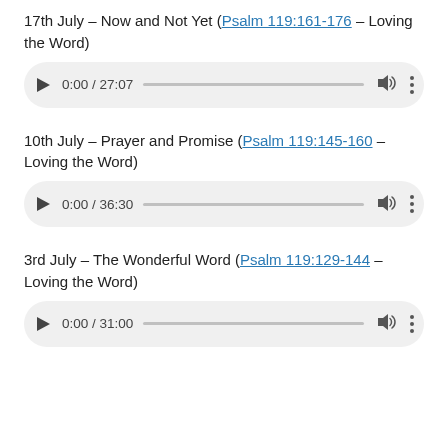17th July – Now and Not Yet (Psalm 119:161-176 – Loving the Word)
[Figure (screenshot): Audio player UI showing 0:00 / 27:07 with play button, progress bar, volume and menu icons]
10th July – Prayer and Promise (Psalm 119:145-160 – Loving the Word)
[Figure (screenshot): Audio player UI showing 0:00 / 36:30 with play button, progress bar, volume and menu icons]
3rd July – The Wonderful Word (Psalm 119:129-144 – Loving the Word)
[Figure (screenshot): Audio player UI showing 0:00 / 31:00 with play button, progress bar, volume and menu icons]